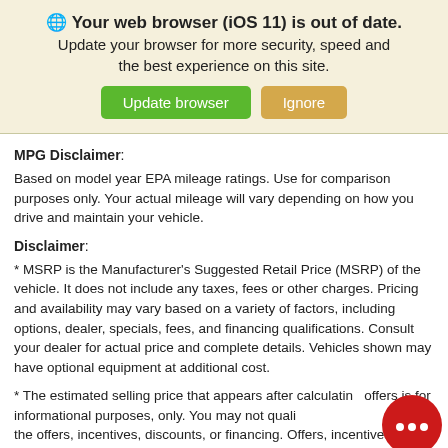🌐 Your web browser (iOS 11) is out of date. Update your browser for more security, speed and the best experience on this site. [Update browser] [Ignore]
MPG Disclaimer:
Based on model year EPA mileage ratings. Use for comparison purposes only. Your actual mileage will vary depending on how you drive and maintain your vehicle.
Disclaimer:
* MSRP is the Manufacturer's Suggested Retail Price (MSRP) of the vehicle. It does not include any taxes, fees or other charges. Pricing and availability may vary based on a variety of factors, including options, dealer, specials, fees, and financing qualifications. Consult your dealer for actual price and complete details. Vehicles shown may have optional equipment at additional cost.
* The estimated selling price that appears after calculating offers is for informational purposes, only. You may not qualify for the offers, incentives, discounts, or financing. Offers, incentives